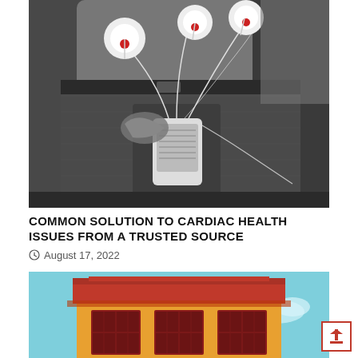[Figure (photo): Black and white photo of a person's torso wearing jeans, holding a cardiac Holter monitor device in their jeans pocket, with ECG electrode leads attached to circular electrode patches on their skin.]
COMMON SOLUTION TO CARDIAC HEALTH ISSUES FROM A TRUSTED SOURCE
August 17, 2022
[Figure (illustration): Colorful cartoon illustration of a two-story brick building with a red roof, yellow/orange walls, and three dark red-framed windows on the ground floor, set against a light blue sky background.]